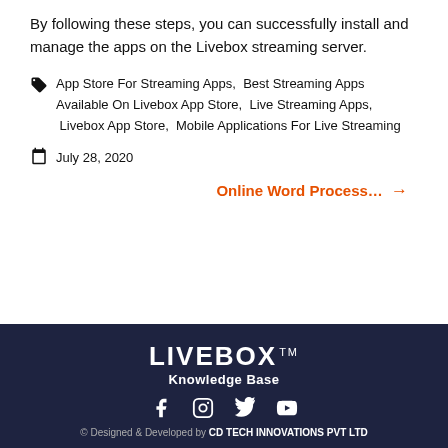By following these steps, you can successfully install and manage the apps on the Livebox streaming server.
App Store For Streaming Apps, Best Streaming Apps Available On Livebox App Store, Live Streaming Apps, Livebox App Store, Mobile Applications For Live Streaming
July 28, 2020
Online Word Process… →
[Figure (logo): LIVEBOX TM Knowledge Base logo in white on dark navy background]
© Designed & Developed by CD TECH INNOVATIONS PVT LTD